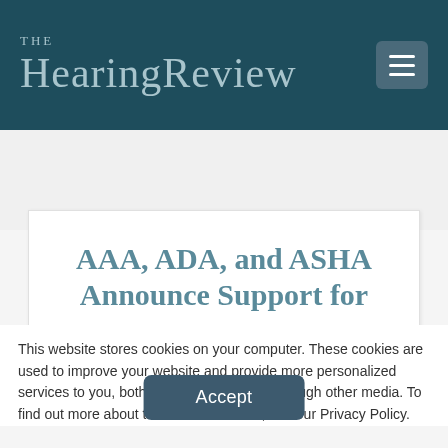THE HearingReview
AAA, ADA, and ASHA Announce Support for
This website stores cookies on your computer. These cookies are used to improve your website and provide more personalized services to you, both on this website and through other media. To find out more about the cookies we use, see our Privacy Policy.
Accept